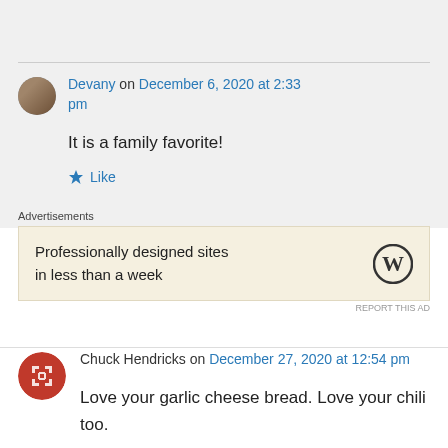Devany on December 6, 2020 at 2:33 pm
It is a family favorite!
Like
Advertisements
Professionally designed sites in less than a week
REPORT THIS AD
Chuck Hendricks on December 27, 2020 at 12:54 pm
Love your garlic cheese bread. Love your chili too.